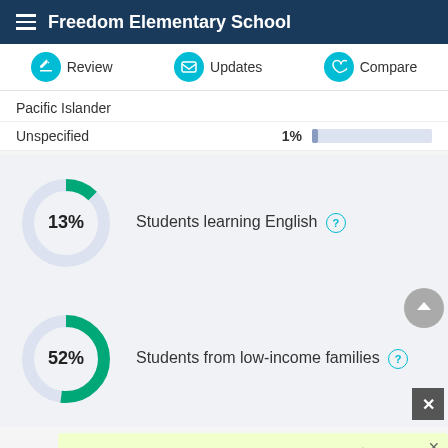Freedom Elementary School
Review | Updates | Compare
Pacific Islander
Unspecified  1%
[Figure (donut-chart): Students learning English]
[Figure (donut-chart): Students from low-income families]
[Figure (infographic): Advertisement: Get your kids into coding! with Raspberry Pi logo and decorative icons]
ADVERTISEMENT